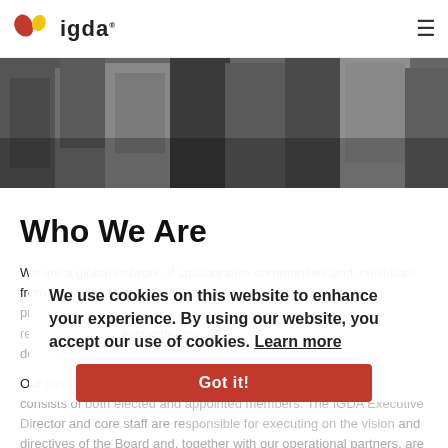igda
[Figure (photo): Black and white photo showing a group of people standing together, cropped to show their torsos and legs.]
Who We Are
We are a global network of collaborative communities and individuals from all fields of game development, including programmers and producers, designers and artists, writers, business people, educators, researchers, and everyone else who participates in the game development process.

Our mission is overseen by the IGDA Board of Directors, which consists of both elected and appointed members. The IGDA Executive Director and core staff are responsible for executing on the vision and directives of the Board and, together with our operational partners, are the force behind the day-to-day running of
We use cookies on this website to enhance your experience. By using our website, you accept our use of cookies. Learn more
Got it!